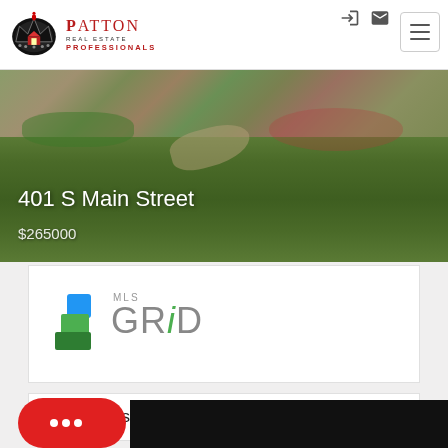Patton Real Estate Professionals
[Figure (photo): Exterior photo of house at 401 S Main Street with green lawn and garden]
401 S Main Street
$265000
[Figure (logo): MLS GRID logo with stacked colored diamond shapes]
Dobson Listings Summary